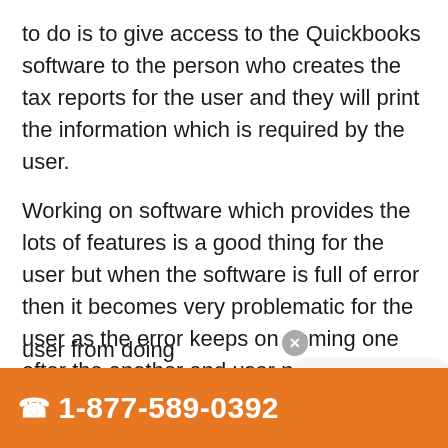to do is to give access to the Quickbooks software to the person who creates the tax reports for the user and they will print the information which is required by the user.
Working on software which provides the lots of features is a good thing for the user but when the software is full of error then it becomes very problematic for the user as the error keeps on coming one after the another and user needs to solve every error to continue their work. The thing with the Quickbooks software is that it is full of er... or user from doing
Talk To Support
☎ 1-877-589-0392